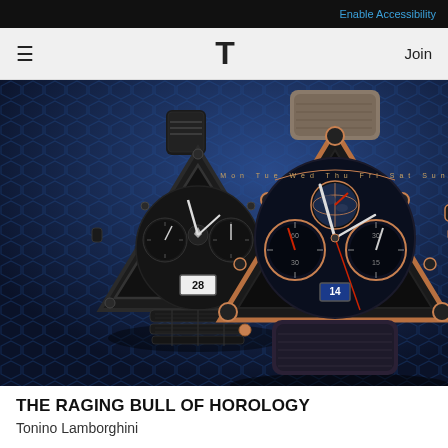Enable Accessibility
≡  T  Join
[Figure (photo): Two Tonino Lamborghini triangular chronograph watches side by side against a blue carbon fiber background. Left watch is all-black with steel bracelet. Right watch is black with rose gold accents and leather strap.]
THE RAGING BULL OF HOROLOGY
Tonino Lamborghini
Sale ends in 3 days